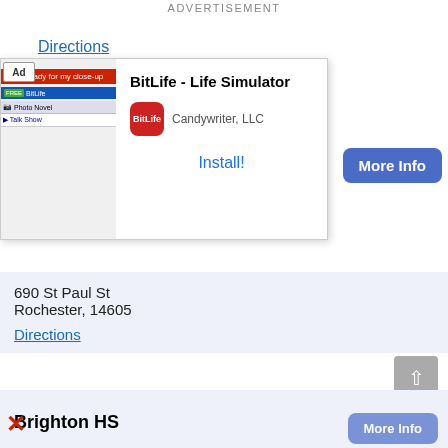ADVERTISEMENT
Directions
[Figure (screenshot): Mobile app advertisement overlay for BitLife - Life Simulator by Candywriter, LLC with an Install! link]
690 St Paul St
Rochester, 14605
Directions
Genesee Comm Charter School At The R
Students/Teachers: 159 / NA
Grades: Kindergarten - 4
657 East Ave
Rochester, 14607
Directions
Brighton HS